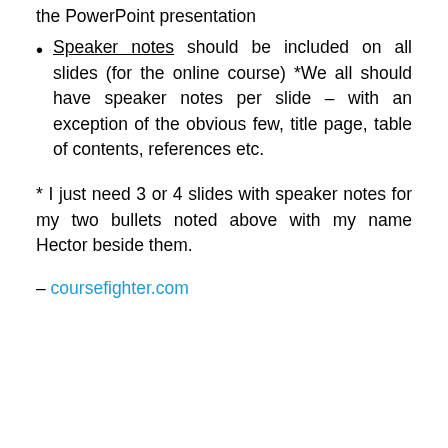the PowerPoint presentation
Speaker notes should be included on all slides (for the online course) *We all should have speaker notes per slide – with an exception of the obvious few, title page, table of contents, references etc.
* I just need 3 or 4 slides with speaker notes for my two bullets noted above with my name Hector beside them.
– coursefighter.com